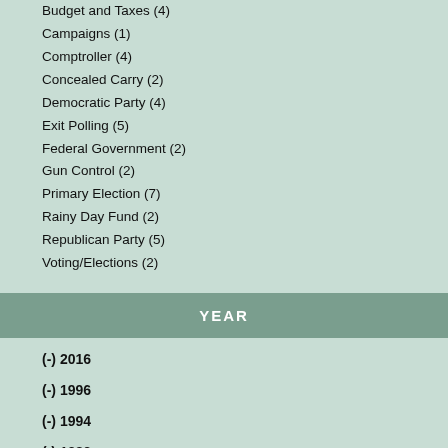Budget and Taxes (4)
Campaigns (1)
Comptroller (4)
Concealed Carry (2)
Democratic Party (4)
Exit Polling (5)
Federal Government (2)
Gun Control (2)
Primary Election (7)
Rainy Day Fund (2)
Republican Party (5)
Voting/Elections (2)
YEAR
(-) 2016
(-) 1996
(-) 1994
(-) 1982
2017 (3)